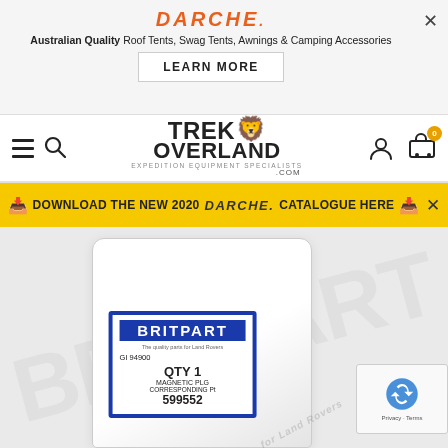[Figure (screenshot): Darche brand advertisement banner with italic orange logo, tagline 'Australian Quality Roof Tents, Swag Tents, Awnings & Camping Accessories', and 'LEARN MORE' button]
[Figure (screenshot): Trek Overland website navigation bar with hamburger menu, search icon, Trek Overland lion logo, user account icon, and cart with badge showing 0]
[Figure (screenshot): Yellow download banner: 'DOWNLOAD THE NEW 2020 DARCHE CATALOGUE HERE' with download icons and close X]
[Figure (photo): Product page showing a Britpart branded plastic bag containing a magnetic plug, part number GI 94900, QTY 1, description MAGNETIC PLG, corresponding number 599552. Background shows faint Britpart watermark. reCAPTCHA widget visible bottom right.]